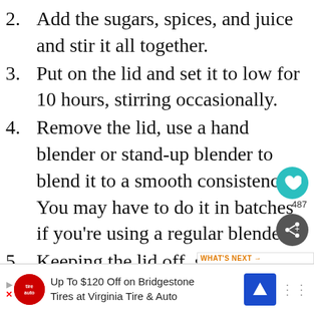2. Add the sugars, spices, and juice and stir it all together.
3. Put on the lid and set it to low for 10 hours, stirring occasionally.
4. Remove the lid, use a hand blender or stand-up blender to blend it to a smooth consistency. You may have to do it in batches if you're using a regular blender.
5. Keeping the lid off, set the heat back to